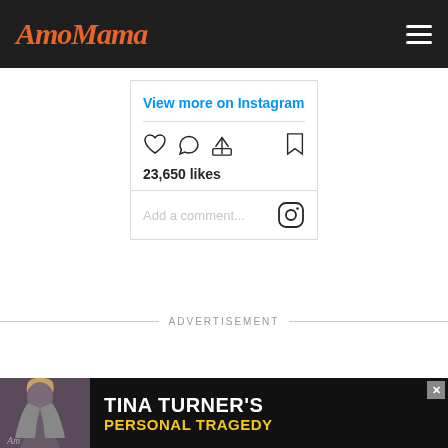AmoMama
View more on Instagram
23,650 likes
Add a comment...
ADVERTISEMENT
[Figure (screenshot): Tina Turner's Personal Tragedy advertisement banner at the bottom of the page]